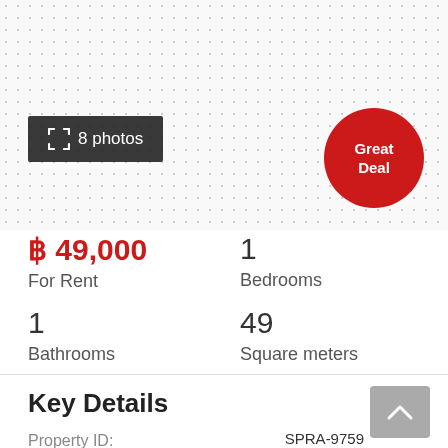[Figure (photo): Dotted/pattern background area representing a property photo placeholder with '8 photos' button overlay]
8 photos
Great Deal
฿ 49,000
For Rent
1
Bedrooms
1
Bathrooms
49
Square meters
Key Details
Property ID:
SPRA-9759